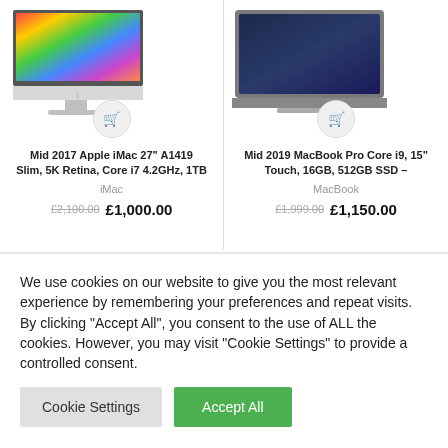[Figure (screenshot): Product listing grid showing two rows of Apple products. First row: Mid 2017 Apple iMac 27" A1419 Slim, 5K Retina, Core i7 4.2GHz, 1TB (iMac category, was £2,100.00, now £1,000.00) and Mid 2019 MacBook Pro Core i9, 15" Touch, 16GB, 512GB SSD (MacBook category, was £1,999.00, now £1,150.00). Second row (partial): two MacBook listings with -50% and -13% discount badges; second item shows SOLD OUT.]
We use cookies on our website to give you the most relevant experience by remembering your preferences and repeat visits. By clicking "Accept All", you consent to the use of ALL the cookies. However, you may visit "Cookie Settings" to provide a controlled consent.